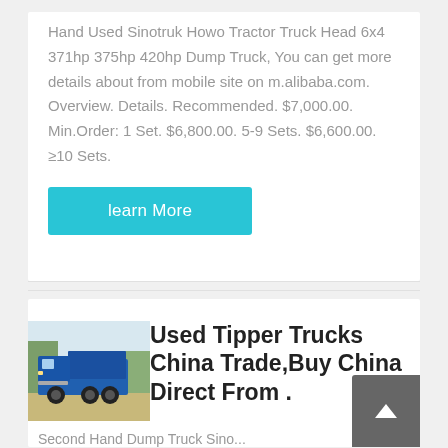Hand Used Sinotruk Howo Tractor Truck Head 6x4 371hp 375hp 420hp Dump Truck, You can get more details about from mobile site on m.alibaba.com. Overview. Details. Recommended. $7,000.00. Min.Order: 1 Set. $6,800.00. 5-9 Sets. $6,600.00. ≥10 Sets.
learn More
[Figure (photo): Blue Sinotruk Howo dump/tipper truck parked outdoors]
Used Tipper Trucks China Trade,Buy China Direct From ...
Second Hand Dump Truck Sino...